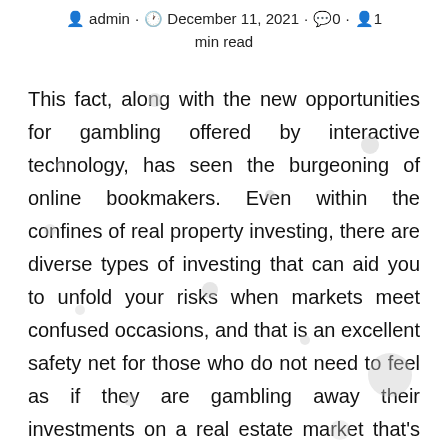admin · December 11, 2021 · 0 · 1 min read
This fact, along with the new opportunities for gambling offered by interactive technology, has seen the burgeoning of online bookmakers. Even within the confines of real property investing, there are diverse types of investing that can aid you to unfold your risks when markets meet confused occasions, and that is an excellent safety net for those who do not need to feel as if they are gambling away their investments on a real estate market that's fickle on its best days. A price-